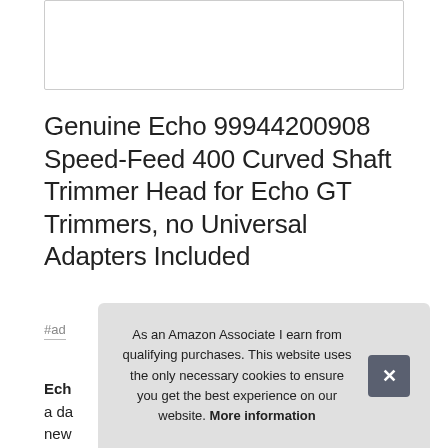[Figure (other): Empty white image box with border]
Genuine Echo 99944200908 Speed-Feed 400 Curved Shaft Trimmer Head for Echo GT Trimmers, no Universal Adapters Included
#ad
Ech
a da
new
inclu
As an Amazon Associate I earn from qualifying purchases. This website uses the only necessary cookies to ensure you get the best experience on our website. More information